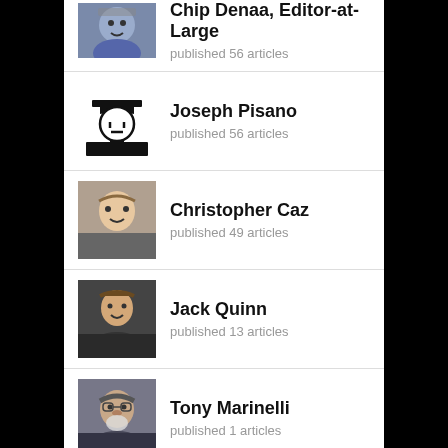Chip Denaa, Editor-at-Large — published 56 articles
Joseph Pisano — published 56 articles
Christopher Caz — published 49 articles
Jack Quinn — published 13 articles
Tony Marinelli — published 1 articles